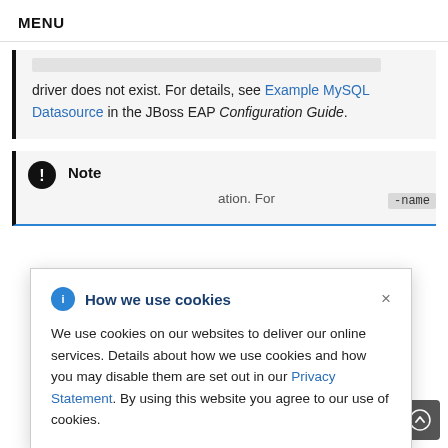MENU
driver does not exist. For details, see Example MySQL Datasource in the JBoss EAP Configuration Guide.
Note
How we use cookies
We use cookies on our websites to deliver our online services. Details about how we use cookies and how you may disable them are set out in our Privacy Statement. By using this website you agree to our use of cookies.